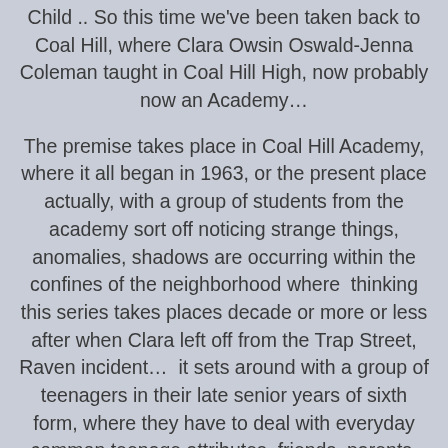Child .. So this time we've been taken back to Coal Hill, where Clara Owsin Oswald-Jenna Coleman taught in Coal Hill High, now probably now an Academy…
The premise takes place in Coal Hill Academy, where it all began in 1963, or the present place actually, with a group of students from the academy sort off noticing strange things, anomalies, shadows are occurring within the confines of the neighborhood where  thinking this series takes places decade or more or less after when Clara left off from the Trap Street, Raven incident…  it sets around with a group of teenagers in their late senior years of sixth form, where they have to deal with everyday common teenage attributes, friends, parents, homework, girlfriends, boyfriends issues, sex… also noticing the